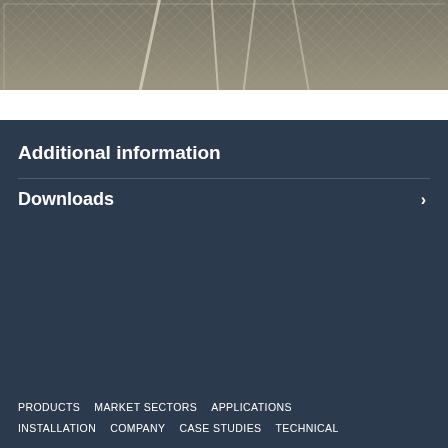[Figure (photo): Aerial or close-up photo of wire mesh/gabion netting system with metal wire rods crossing diagonally over textured mesh material]
Additional information
Downloads
PRODUCTS
MARKET SECTORS
APPLICATIONS
INSTALLATION
COMPANY
CASE STUDIES
TECHNICAL